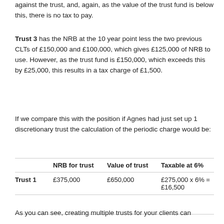against the trust, and, again, as the value of the trust fund is below this, there is no tax to pay.
Trust 3 has the NRB at the 10 year point less the two previous CLTs of £150,000 and £100,000, which gives £125,000 of NRB to use. However, as the trust fund is £150,000, which exceeds this by £25,000, this results in a tax charge of £1,500.
If we compare this with the position if Agnes had just set up 1 discretionary trust the calculation of the periodic charge would be:
|  | NRB for trust | Value of trust | Taxable at 6% |
| --- | --- | --- | --- |
| Trust 1 | £375,000 | £650,000 | £275,000 x 6% = £16,500 |
|  |  |  |  |
As you can see, creating multiple trusts for your clients can